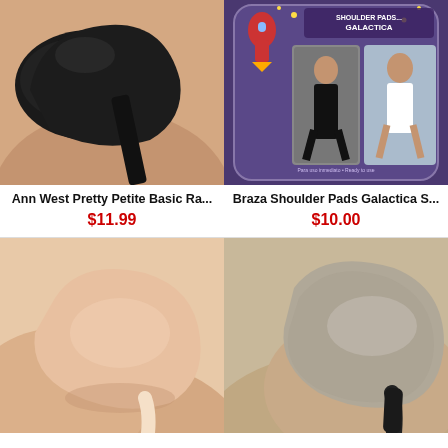[Figure (photo): Close-up of a black shoulder pad on a mannequin shoulder with a bra strap]
[Figure (photo): Braza Shoulder Pads Galactica product packaging with purple background showing before/after photos of woman]
Ann West Pretty Petite Basic Ra...
$11.99
Braza Shoulder Pads Galactica S...
$10.00
[Figure (photo): Close-up of a nude/beige silicone shoulder pad on a shoulder with strap]
[Figure (photo): Close-up of a gray/beige shoulder pad on a shoulder with black strap]